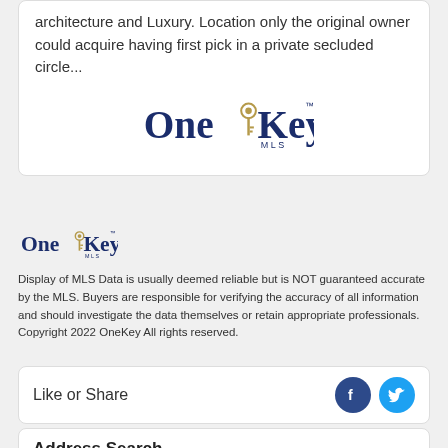architecture and Luxury. Location only the original owner could acquire having first pick in a private secluded circle...
[Figure (logo): OneKey MLS logo, large, centered]
[Figure (logo): OneKey MLS logo, small, left-aligned]
Display of MLS Data is usually deemed reliable but is NOT guaranteed accurate by the MLS. Buyers are responsible for verifying the accuracy of all information and should investigate the data themselves or retain appropriate professionals. Copyright 2022 OneKey All rights reserved.
Like or Share
Address Search